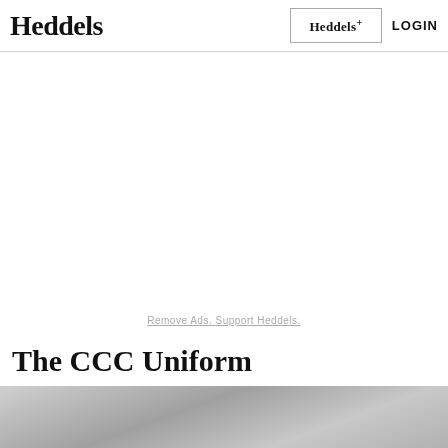Heddels | Heddels+ | LOGIN
[Figure (other): Advertisement placeholder area (blank white space)]
Remove Ads. Support Heddels.
The CCC Uniform
[Figure (photo): Black and white photo, partially visible at bottom of page]